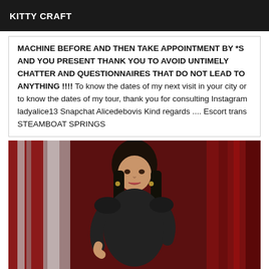KITTY CRAFT
MACHINE BEFORE AND THEN TAKE APPOINTMENT BY *S AND YOU PRESENT THANK YOU TO AVOID UNTIMELY CHATTER AND QUESTIONNAIRES THAT DO NOT LEAD TO ANYTHING !!!! To know the dates of my next visit in your city or to know the dates of my tour, thank you for consulting Instagram ladyalice13 Snapchat Alicedebovis Kind regards .... Escort trans STEAMBOAT SPRINGS
[Figure (photo): A person standing in front of red curtains, wearing a black outfit, with long dark hair.]